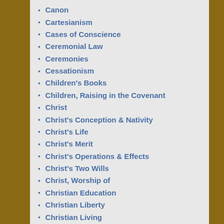Canon
Cartesianism
Cases of Conscience
Ceremonial Law
Ceremonies
Cessationism
Children's Books
Children, Raising in the Covenant
Christ
Christ's Conception & Nativity
Christ's Life
Christ's Merit
Christ's Operations & Effects
Christ's Two Wills
Christ, Worship of
Christian Education
Christian Liberty
Christian Living
Christologies
Church
Church Fathers, Writings of